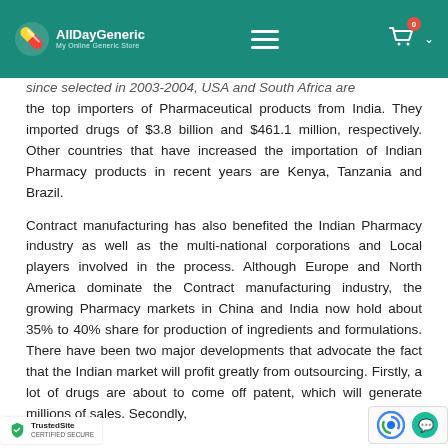AllDayGeneric – My Online Generic Store
...since selected in 2003-2004, USA and South Africa are the top importers of Pharmaceutical products from India. They imported drugs of $3.8 billion and $461.1 million, respectively. Other countries that have increased the importation of Indian Pharmacy products in recent years are Kenya, Tanzania and Brazil.
Contract manufacturing has also benefited the Indian Pharmacy industry as well as the multi-national corporations and Local players involved in the process. Although Europe and North America dominate the Contract manufacturing industry, the growing Pharmacy markets in China and India now hold about 35% to 40% share for production of ingredients and formulations. There have been two major developments that advocate the fact that the Indian market will profit greatly from outsourcing. Firstly, a lot of drugs are about to come off patent, which will generate millions of sales. Secondly...